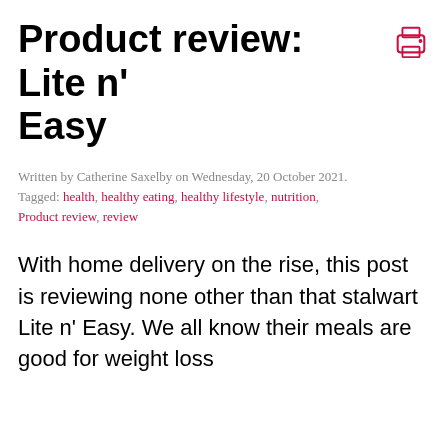Product review: Lite n' Easy
Written by Catherine Saxelby on Wednesday, 20 October 2021.
Tagged: health, healthy eating, healthy lifestyle, nutrition, Product review, review
With home delivery on the rise, this post is reviewing none other than that stalwart Lite n' Easy. We all know their meals are good for weight loss